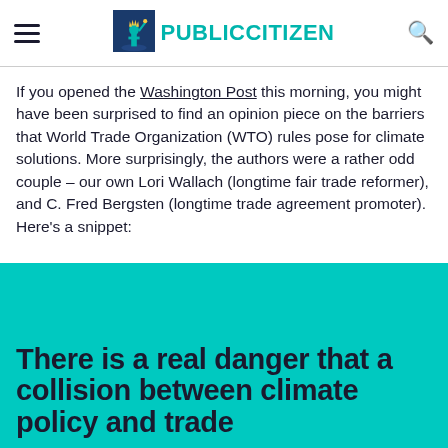PUBLIC CITIZEN
If you opened the Washington Post this morning, you might have been surprised to find an opinion piece on the barriers that World Trade Organization (WTO) rules pose for climate solutions. More surprisingly, the authors were a rather odd couple – our own Lori Wallach (longtime fair trade reformer), and C. Fred Bergsten (longtime trade agreement promoter). Here's a snippet:
There is a real danger that a collision between climate policy and trade